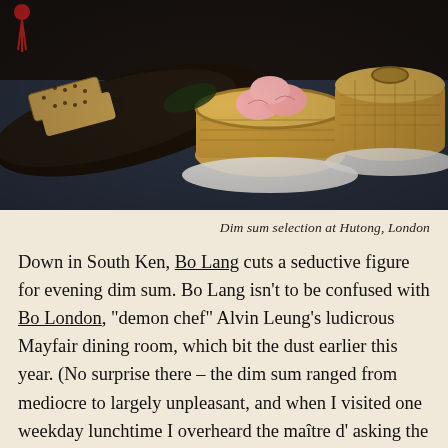[Figure (photo): Overhead/close-up photo of dim sum dishes: sesame-crusted items on a dark elongated plate on the left, pink har gow dumplings in a bamboo steamer basket in the center, and another bamboo steamer with lid on the right, set on a dark blue surface with white plates.]
Dim sum selection at Hutong, London
Down in South Ken, Bo Lang cuts a seductive figure for evening dim sum. Bo Lang isn't to be confused with Bo London, "demon chef" Alvin Leung's ludicrous Mayfair dining room, which bit the dust earlier this year. (No surprise there – the dim sum ranged from mediocre to largely unpleasant, and when I visited one weekday lunchtime I overheard the maître d' asking the hostess on the front desk in desperation: "What, no one's booked at all?"). Bo Lang, meantime, is thriving: a space that's small,